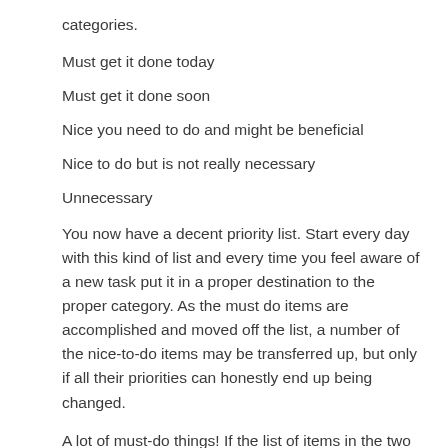categories.
Must get it done today
Must get it done soon
Nice you need to do and might be beneficial
Nice to do but is not really necessary
Unnecessary
You now have a decent priority list. Start every day with this kind of list and every time you feel aware of a new task put it in a proper destination to the proper category. As the must do items are accomplished and moved off the list, a number of the nice-to-do items may be transferred up, but only if all their priorities can honestly end up being changed.
A lot of must-do things! If the list of items in the two Must